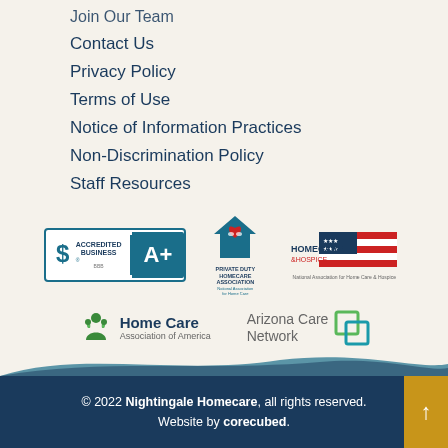Join Our Team
Contact Us
Privacy Policy
Terms of Use
Notice of Information Practices
Non-Discrimination Policy
Staff Resources
[Figure (logo): BBB Accredited Business A+ badge, Private Duty Homecare Association logo, Homecare & Hospice National Association logo]
[Figure (logo): Home Care Association of America logo, Arizona Care Network logo]
© 2022 Nightingale Homecare, all rights reserved. Website by corecubed.